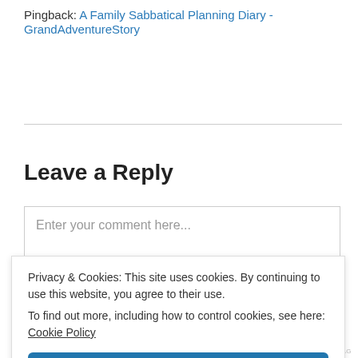Pingback: A Family Sabbatical Planning Diary - GrandAdventureStory
Leave a Reply
Enter your comment here...
Privacy & Cookies: This site uses cookies. By continuing to use this website, you agree to their use.
To find out more, including how to control cookies, see here:
Cookie Policy
Close and accept